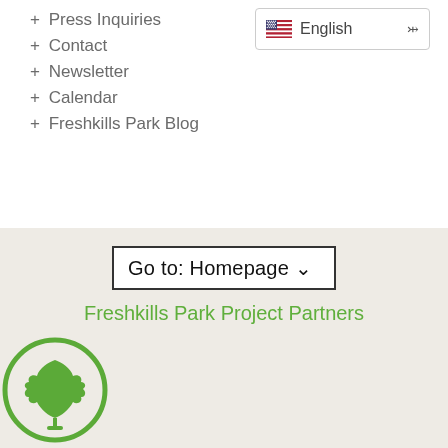+ Press Inquiries
+ Contact
+ Newsletter
+ Calendar
+ Freshkills Park Blog
Go to: Homepage ˅
Freshkills Park Project Partners
[Figure (logo): Green circular logo with a maple leaf inside, outlined in green]
[Figure (logo): New York City official seal/badge with wings and caduceus]